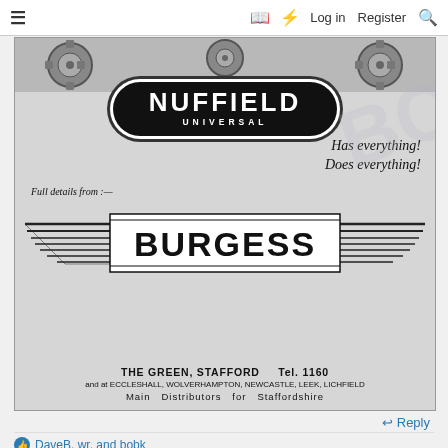≡  [book icon] [lightning icon]  Log in  Register  [search icon]
[Figure (photo): Black and white vintage advertisement for Nuffield Universal tractor. Shows gears/machinery at top, Nuffield Universal badge/logo with text 'Has everything! Does everything!', 'Full details from:—', Burgess dealer logo with wing design, address: THE GREEN, STAFFORD Tel. 1160, and at ECCLESHALL, WOLVERHAMPTON, NEWCASTLE, LEEK, LICHFIELD, Main Distributors for Staffordshire]
↩ Reply
👍 DaveB, wr. and bobk